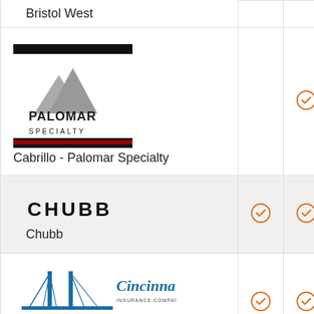Bristol West
[Figure (logo): Palomar Specialty insurance logo with mountain graphic, black bars top and bottom with red accent]
Cabrillo - Palomar Specialty
[Figure (logo): Chubb logo in black text]
Chubb
[Figure (logo): The Cincinnati Insurance Companies logo with bridge graphic]
Cincinnati
[Figure (logo): Clearcover logo with blue parallelogram icon]